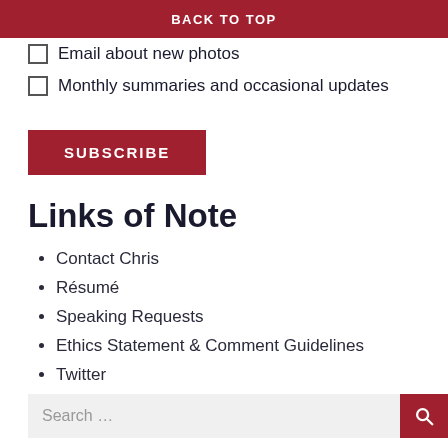BACK TO TOP
Email about tech and software posts
Email about new photos
Monthly summaries and occasional updates
SUBSCRIBE
Links of Note
Contact Chris
Résumé
Speaking Requests
Ethics Statement & Comment Guidelines
Twitter
RSS Feed
Search ...